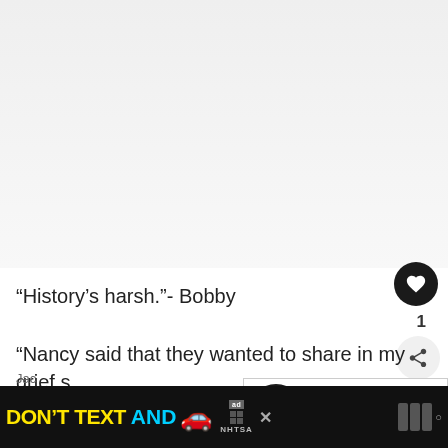[Figure (photo): Light grey image area, appears to be a blurred or faded photograph]
“History’s harsh.”- Bobby
“Nancy said that they wanted to share in my grief s... let them.”- Jackie
“I never wanted fame, I just became a Kennedy.”- Jackie
[Figure (screenshot): What's Next panel showing Scream 5 Movie Quotes with a dark circular thumbnail]
[Figure (infographic): DON'T TEXT AND [car emoji] advertisement banner from NHTSA on black background]